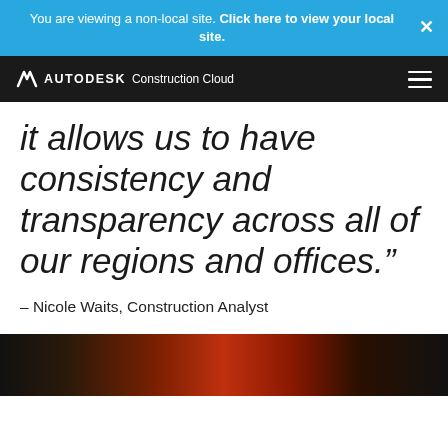You are viewing a non-local site. Click here to view your local site.
[Figure (logo): Autodesk Construction Cloud logo with hamburger menu on black navigation bar]
it allows us to have consistency and transparency across all of our regions and offices.”
– Nicole Waits, Construction Analyst
[Figure (photo): Dark photo with red and orange lighting, partial view at bottom of page]